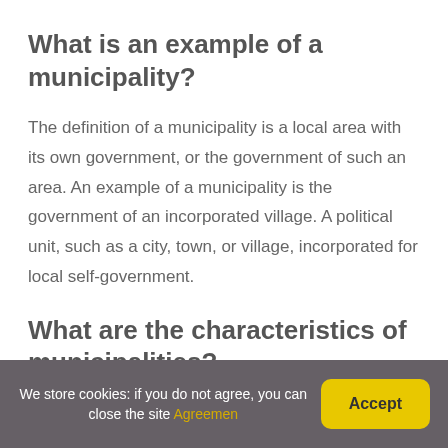What is an example of a municipality?
The definition of a municipality is a local area with its own government, or the government of such an area. An example of a municipality is the government of an incorporated village. A political unit, such as a city, town, or village, incorporated for local self-government.
What are the characteristics of municipalities?
We store cookies: if you do not agree, you can close the site Agreemen  Accept